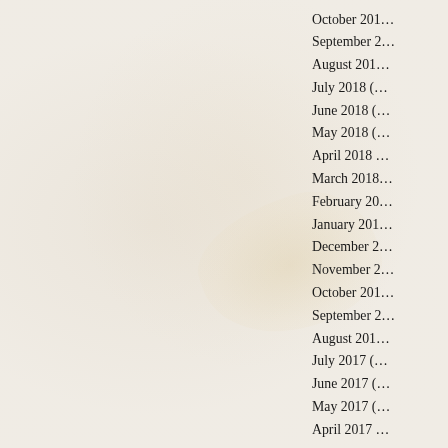October 201…
September 2…
August 201…
July 2018 (…
June 2018 (…
May 2018 (…
April 2018 …
March 2018…
February 20…
January 201…
December 2…
November 2…
October 201…
September 2…
August 201…
July 2017 (…
June 2017 (…
May 2017 (…
April 2017 …